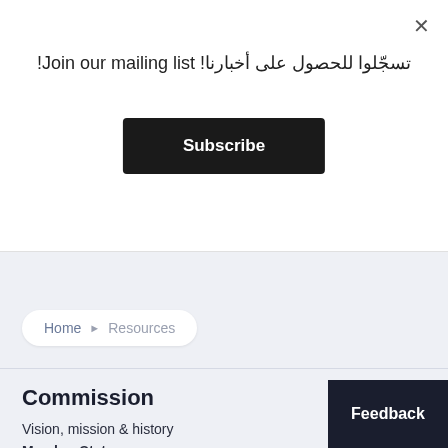تسجّلوا للحصول على أخبارنا! Join our mailing list!
Subscribe
×
Home ▶ Resources
Commission
Vision, mission & history
Member States
Feedback